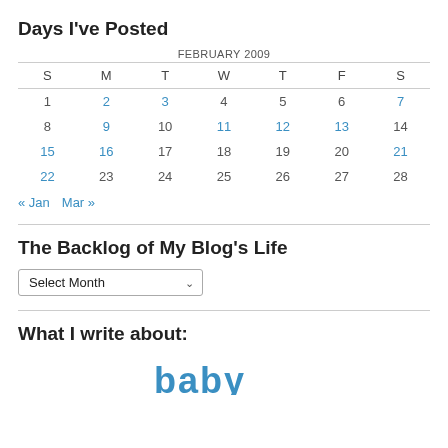Days I've Posted
| S | M | T | W | T | F | S |
| --- | --- | --- | --- | --- | --- | --- |
| 1 | 2 | 3 | 4 | 5 | 6 | 7 |
| 8 | 9 | 10 | 11 | 12 | 13 | 14 |
| 15 | 16 | 17 | 18 | 19 | 20 | 21 |
| 22 | 23 | 24 | 25 | 26 | 27 | 28 |
« Jan   Mar »
The Backlog of My Blog's Life
Select Month
What I write about: